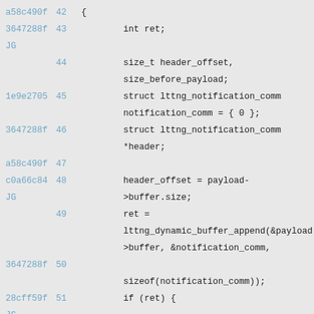[Figure (screenshot): Source code diff view showing lines 42-52 of a C file with commit hashes and author annotations. Lines include variable declarations (int ret, size_t header_offset, size_before_payload), struct declarations for lttng_notification_comm, header_offset assignment, lttng_dynamic_buffer_append call, sizeof expression, and an if(ret) block with goto end.]